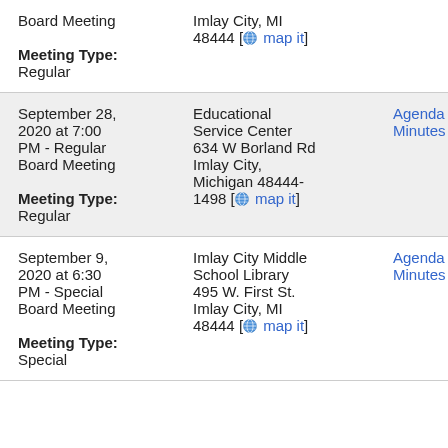Board Meeting
Meeting Type:
Regular
Imlay City, MI 48444 [map it]
September 28, 2020 at 7:00 PM - Regular Board Meeting
Meeting Type:
Regular
Educational Service Center 634 W Borland Rd Imlay City, Michigan 48444-1498 [map it]
Agenda Minutes
September 9, 2020 at 6:30 PM - Special Board Meeting
Meeting Type:
Special
Imlay City Middle School Library 495 W. First St. Imlay City, MI 48444 [map it]
Agenda Minutes